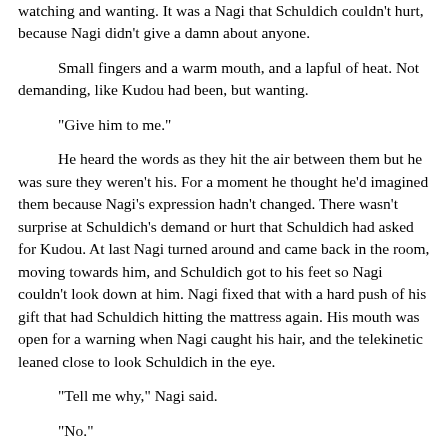watching and wanting. It was a Nagi that Schuldich couldn't hurt, because Nagi didn't give a damn about anyone.
Small fingers and a warm mouth, and a lapful of heat. Not demanding, like Kudou had been, but wanting.
"Give him to me."
He heard the words as they hit the air between them but he was sure they weren't his. For a moment he thought he'd imagined them because Nagi's expression hadn't changed. There wasn't surprise at Schuldich's demand or hurt that Schuldich had asked for Kudou. At last Nagi turned around and came back in the room, moving towards him, and Schuldich got to his feet so Nagi couldn't look down at him. Nagi fixed that with a hard push of his gift that had Schuldich hitting the mattress again. His mouth was open for a warning when Nagi caught his hair, and the telekinetic leaned close to look Schuldich in the eye.
"Tell me why," Nagi said.
"No."
"You want me to give him up to you when you said you wanted nothing to do with him, when you've been threatening violence towards him. You expect me to trust you with him?"